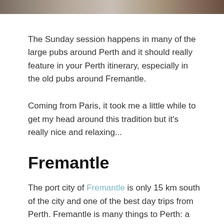[Figure (photo): Partial photo strip at the top of the page showing ruins or old stone buildings]
The Sunday session happens in many of the large pubs around Perth and it should really feature in your Perth itinerary, especially in the old pubs around Fremantle.
Coming from Paris, it took me a little while to get my head around this tradition but it's really nice and relaxing...
Fremantle
The port city of Fremantle is only 15 km south of the city and one of the best day trips from Perth. Fremantle is many things to Perth: a historical and cultural centre, an active harbour and a great place for nightlife.
A mention in Fremantle will feature on Perth...